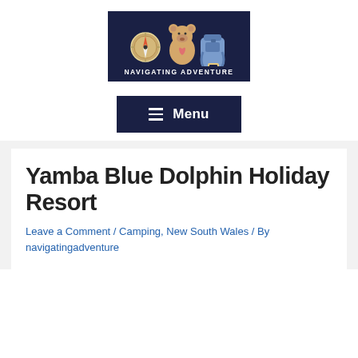[Figure (logo): Navigating Adventure logo: dark navy background with cartoon compass, teddy bear, and backpack illustration above the text NAVIGATING ADVENTURE in white bold letters]
[Figure (other): Dark navy Menu button with three horizontal lines (hamburger icon) and the word Menu in white bold text]
Yamba Blue Dolphin Holiday Resort
Leave a Comment / Camping, New South Wales / By navigatingadventure